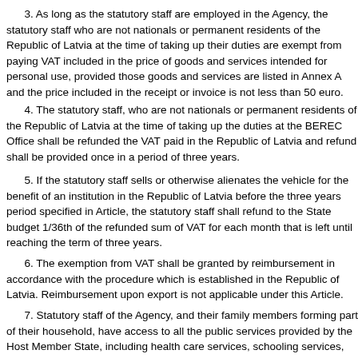3. As long as the statutory staff are employed in the Agency, the statutory staff who are not nationals or permanent residents of the Republic of Latvia at the time of taking up their duties are exempt from paying VAT included in the price of goods and services intended for personal use, provided those goods and services are listed in Annex A and the price included in the receipt or invoice is not less than 50 euro.
4. The statutory staff, who are not nationals or permanent residents of the Republic of Latvia at the time of taking up the duties at the BEREC Office shall be refunded the VAT paid in the Republic of Latvia and refund shall be provided once in a period of three years.
5. If the statutory staff sells or otherwise alienates the vehicle for the benefit of an institution in the Republic of Latvia before the three years period specified in Article, the statutory staff shall refund to the State budget 1/36th of the refunded sum of VAT for each month that is left until reaching the term of three years.
6. The exemption from VAT shall be granted by reimbursement in accordance with the procedure which is established in the Republic of Latvia. Reimbursement upon export is not applicable under this Article.
7. Statutory staff of the Agency, and their family members forming part of their household, have access to all the public services provided by the Host Member State, including health care services, schooling services, child care services and rental rights without discrimination by nationals of the Host Member State.